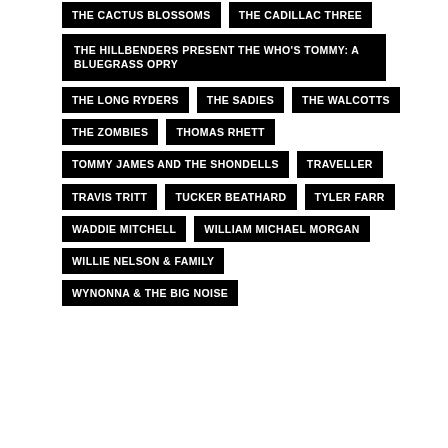THE CACTUS BLOSSOMS
THE CADILLAC THREE
THE HILLBENDERS PRESENT THE WHO'S TOMMY: A BLUEGRASS OPRY
THE LONG RYDERS
THE SADIES
THE WALCOTTS
THE ZOMBIES
THOMAS RHETT
TOMMY JAMES AND THE SHONDELLS
TRAVELLER
TRAVIS TRITT
TUCKER BEATHARD
TYLER FARR
WADDIE MITCHELL
WILLIAM MICHAEL MORGAN
WILLIE NELSON & FAMILY
WYNONNA & THE BIG NOISE